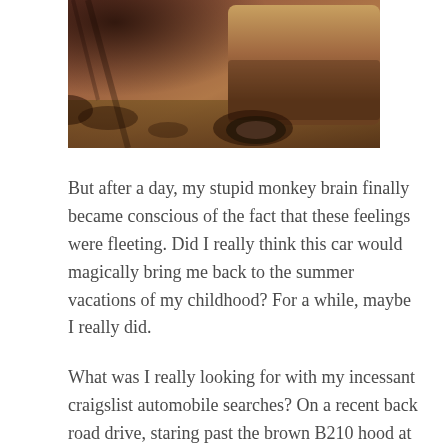[Figure (photo): Vintage photograph showing the bottom portion of a classic car parked on a dirt or gravel surface, with dappled shadows from trees overhead. Warm brown and sepia tones.]
But after a day, my stupid monkey brain finally became conscious of the fact that these feelings were fleeting. Did I really think this car would magically bring me back to the summer vacations of my childhood? For a while, maybe I really did.
What was I really looking for with my incessant craigslist automobile searches? On a recent back road drive, staring past the brown B210 hood at the empty winding road ahead of me, I came to realize I didn't really want all of these craigslist cars. I wanted what the cars represented. I wanted the stories that the cars evoked. A great memory...